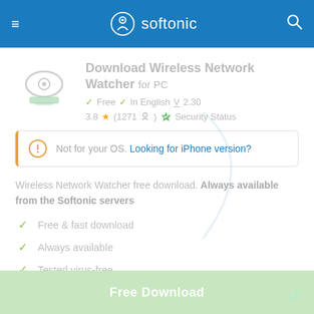softonic
Download Wireless Network Watcher for PC
Free  In English  V 2.30
3.8  (1271)  Security Status
Not for your OS. Looking for iPhone version?
Wireless Network Watcher free download. Always available from the Softonic servers
Free & fast download
Always available
Tested virus-free
Free Download